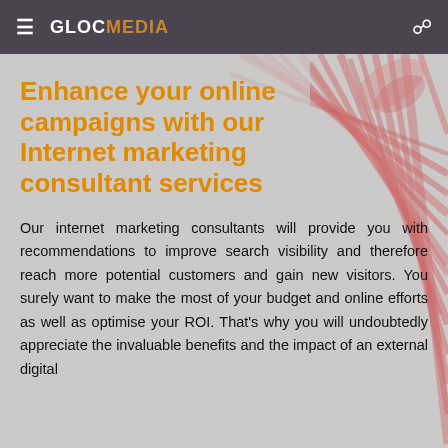GLOCMEDIA
Enhance your online campaigns with our Internet marketing consultant services
Our internet marketing consultants will provide you with recommendations to improve search visibility and therefore reach more potential customers and gain new visitors. You surely want to make the most of your budget and online efforts as well as optimise your ROI. That's why you will undoubtedly appreciate the invaluable benefits and the impact of an external digital